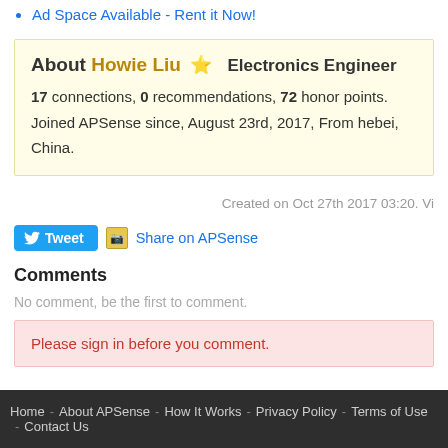Ad Space Available - Rent it Now!
About Howie Liu ★ Electronics Engineer
17 connections, 0 recommendations, 72 honor points.
Joined APSense since, August 23rd, 2017, From hebei, China.
Created on Oct 27th 2017 03:20. Vi
[Figure (other): Tweet button and Share on APSense link]
Comments
No comment, be the first to comment.
Please sign in before you comment.
Home - About APSense - How It Works - Privacy Policy - Terms of Use - Contact Us